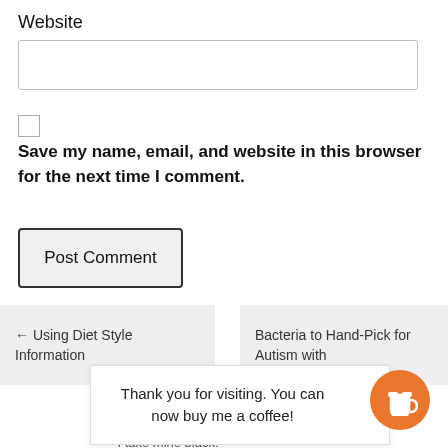Website
[Figure (screenshot): Empty text input field for website URL]
Save my name, email, and website in this browser for the next time I comment.
[Figure (screenshot): Post Comment button]
← Using Diet Style Information
Bacteria to Hand-Pick for Autism with
Thank you for visiting. You can now buy me a coffee!
[Figure (illustration): Orange circular coffee cup button/widget]